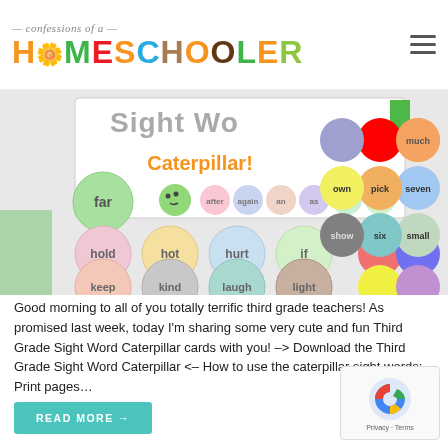confessions of a Homeschooler
[Figure (illustration): Sight Word Caterpillar educational cards showing colorful circle tokens with sight words like far, hold, hot, hurt, if, keep, kind, laugh, light, own, pick, seven, show, six, small arranged as caterpillar segments]
Good morning to all of you totally terrific third grade teachers! As promised last week, today I'm sharing some very cute and fun Third Grade Sight Word Caterpillar cards with you!  –> Download the Third Grade Sight Word Caterpillar <- How to use the caterpillar sight words: Print pages…
READ MORE →